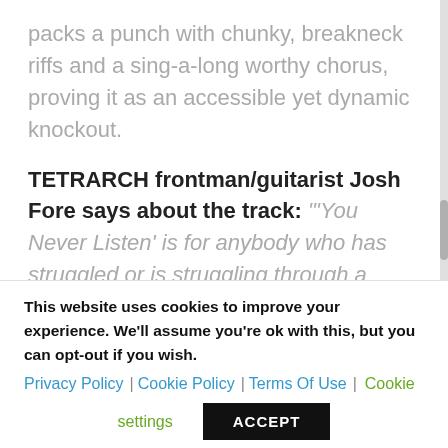packs a punch with chunky, breakneck riffs and a sing-a-long worthy chorus, proving it as an accessible yet dynamic knockout.
TETRARCH frontman/guitarist Josh Fore says about the track: "'You Never Listen' is for anybody who has struggled or is struggling through a broken relationship — whether it be with a family member, friend, significant
This website uses cookies to improve your experience. We'll assume you're ok with this, but you can opt-out if you wish.
Privacy Policy | Cookie Policy | Terms Of Use | Cookie settings
ACCEPT